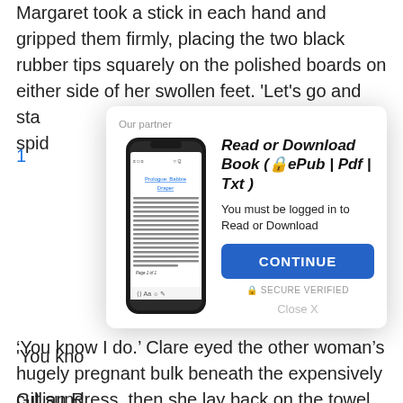Margaret took a stick in each hand and gripped them firmly, placing the two black rubber tips squarely on the polished boards on either side of her swollen feet. 'Let's go and sta... e and his spid...
1
[Figure (screenshot): Modal dialog overlay with smartphone illustration showing a book reading app. Contains 'Our partner' label, title 'Read or Download Book (🔒ePub | Pdf | Txt)', login prompt, CONTINUE button, SECURE VERIFIED label, and Close X link.]
'You kno...
Gillian R... lazily at the fruit... er hair and pee... eath her sha... ake?'
'You know I do.' Clare eyed the other woman's hugely pregnant bulk beneath the expensively cut sundress, then she lay back on the towel and closed her eyes, one hand